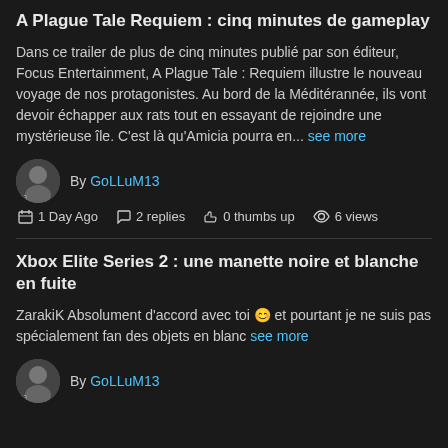A Plague Tale Requiem : cinq minutes de gameplay
Dans ce trailer de plus de cinq minutes publié par son éditeur, Focus Entertainment, A Plague Tale : Requiem illustre le nouveau voyage de nos protagonistes. Au bord de la Méditérannée, ils vont devoir échapper aux rats tout en essayant de rejoindre une mystérieuse île. C'est là qu'Amicia pourra en... see more
By GoLLuM13
1 Day Ago  2 replies  0 thumbs up  6 views
Xbox Elite Series 2 : une manette noire et blanche en fuite
ZarakiK Absolument d'accord avec toi 😊 et pourtant je ne suis pas spécialement fan des objets en blanc see more
By GoLLuM13